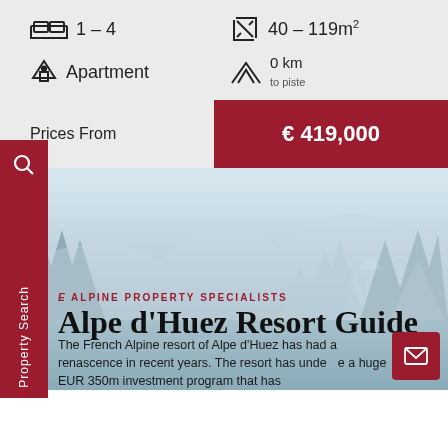1 - 4 bedrooms
40 – 119m²
Apartment
0 km to piste
Prices From
€ 419,000
Property Search
ALPINE PROPERTY SPECIALISTS
Alpe d'Huez Resort Guide
The French Alpine resort of Alpe d'Huez has had a renascence in recent years. The resort has undergone a huge EUR 350m investment program that has